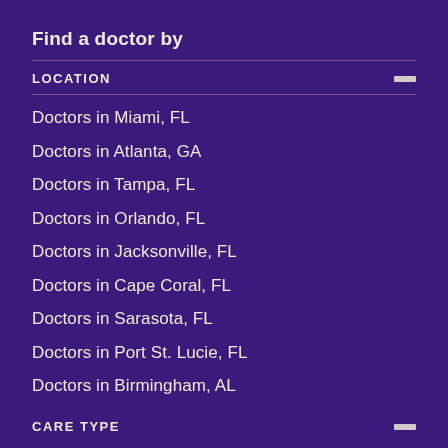Find a doctor by
LOCATION
Doctors in Miami, FL
Doctors in Atlanta, GA
Doctors in Tampa, FL
Doctors in Orlando, FL
Doctors in Jacksonville, FL
Doctors in Cape Coral, FL
Doctors in Sarasota, FL
Doctors in Port St. Lucie, FL
Doctors in Birmingham, AL
CARE TYPE